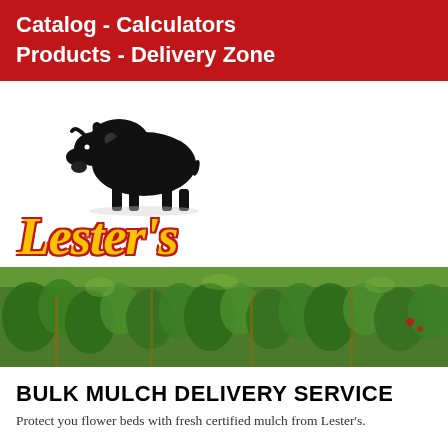Catalog - Calculators
Products - Delivery Zone
[Figure (logo): Lester's logo featuring a black bison illustration above the text "Lester's" in yellow italic letters with red outline]
[Figure (photo): A photo banner showing green foliage/plants, likely a garden or crop field scene]
BULK MULCH DELIVERY SERVICE
Protect you flower beds with fresh certified mulch from Lester's.